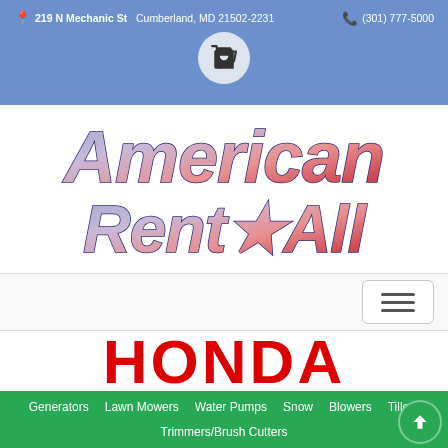219 N Mechanic St   Cumberland, MD 21502-2231   (301) 777-5000
[Figure (logo): American Rent All company logo with stylized italic text and star, red-white-blue gradient with dark blue outline]
[Figure (logo): Honda brand logo in bold red text]
Generators   Lawn Mowers   Water Pumps   Snow Blowers   Tillers   Trimmers/Brush Cutters